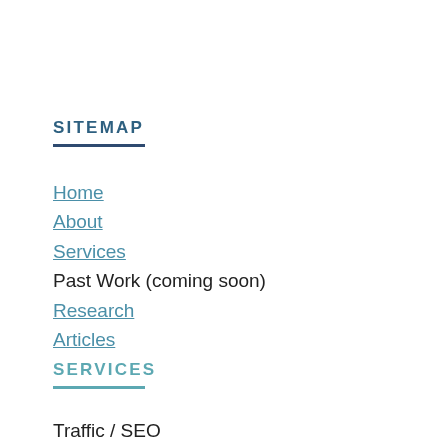SITEMAP
Home
About
Services
Past Work (coming soon)
Research
Articles
SERVICES
Traffic / SEO